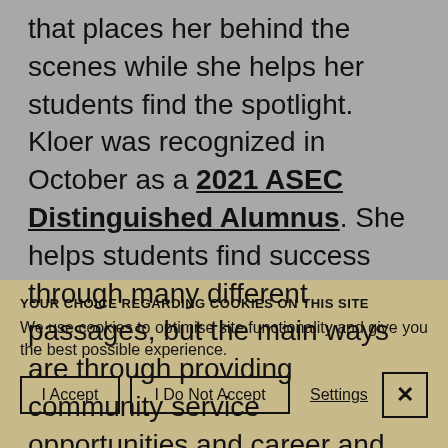that places her behind the scenes while she helps her students find the spotlight. Kloer was recognized in October as a 2021 ASEC Distinguished Alumnus. She helps students find success through many different passages, but the main ways are through providing community service opportunities and career and technical education.
YOUR CHOICE REGARDING COOKIES ON THIS SITE
We use cookies to optimise site functionality and give you the best possible experience.